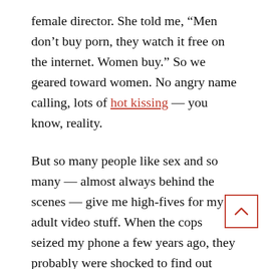female director. She told me, “Men don’t buy porn, they watch it free on the internet. Women buy.” So we geared toward women. No angry name calling, lots of hot kissing — you know, reality.
But so many people like sex and so many — almost always behind the scenes — give me high-fives for my adult video stuff. When the cops seized my phone a few years ago, they probably were shocked to find out who was in there: CIA, FBI, SBI, UFC, politicians and female porn stars and strippers.
Perhaps I should back up. A few months earlier